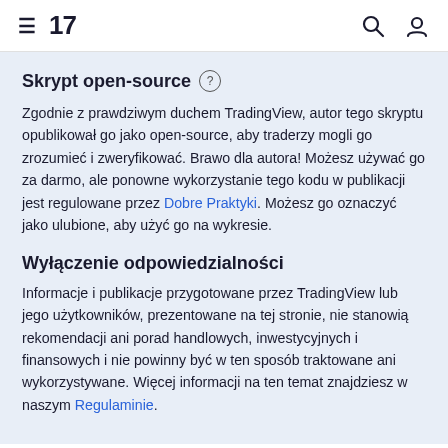TradingView
Skrypt open-source
Zgodnie z prawdziwym duchem TradingView, autor tego skryptu opublikował go jako open-source, aby traderzy mogli go zrozumieć i zweryfikować. Brawo dla autora! Możesz używać go za darmo, ale ponowne wykorzystanie tego kodu w publikacji jest regulowane przez Dobre Praktyki. Możesz go oznaczyć jako ulubione, aby użyć go na wykresie.
Wyłączenie odpowiedzialności
Informacje i publikacje przygotowane przez TradingView lub jego użytkowników, prezentowane na tej stronie, nie stanowią rekomendacji ani porad handlowych, inwestycyjnych i finansowych i nie powinny być w ten sposób traktowane ani wykorzystywane. Więcej informacji na ten temat znajdziesz w naszym Regulaminie.